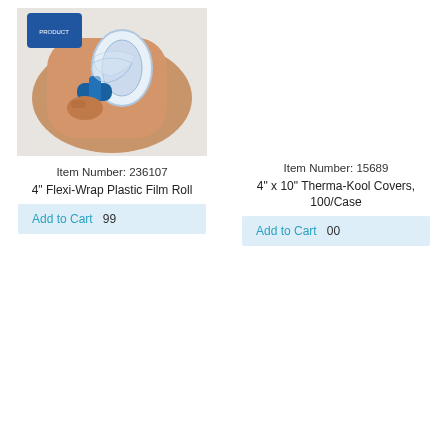[Figure (photo): Person applying 4" Flexi-Wrap plastic film roll to an arm using a blue dispenser handle]
Item Number: 236107
4" Flexi-Wrap Plastic Film Roll
Add to Cart
Item Number: 15689
4" x 10" Therma-Kool Covers, 100/Case
Add to Cart